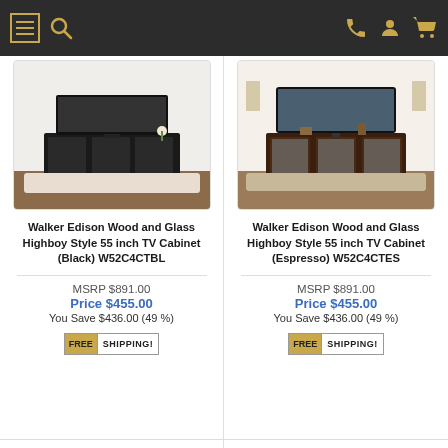Navigation bar with menu, search, phone, account, and cart icons
[Figure (photo): Walker Edison Wood and Glass Highboy Style 55 inch TV Cabinet in Black color, shown in a living room setting]
Walker Edison Wood and Glass Highboy Style 55 inch TV Cabinet (Black) W52C4CTBL
MSRP $891.00
Price $455.00
You Save $436.00 (49 %)
[Figure (photo): Walker Edison Wood and Glass Highboy Style 55 inch TV Cabinet in Espresso color, shown in a living room setting]
Walker Edison Wood and Glass Highboy Style 55 inch TV Cabinet (Espresso) W52C4CTES
MSRP $891.00
Price $455.00
You Save $436.00 (49 %)